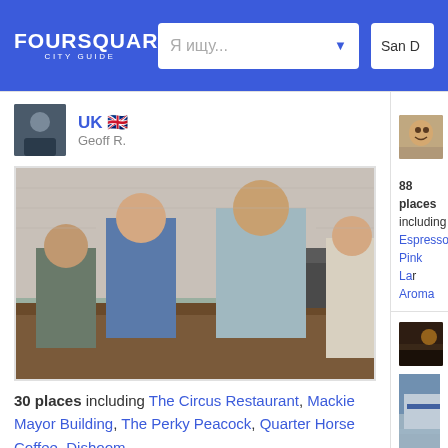[Figure (screenshot): Foursquare City Guide header with logo, search box with placeholder text 'Я ищу...' with dropdown arrow, and location showing 'San D']
[Figure (photo): Photo of people standing at a coffee bar/counter, taken from behind]
UK 🇬🇧 Geoff R.
30 places including The Circus Restaurant, Mackie Mayor Building, The Perky Peacock, Quarter Horse Coffee, Dishoom
Belfast Clark G.
To drink U... Alper Ç. | 1
88 places including Espresso, Pink La... Aroma
Ireland Patricia L.